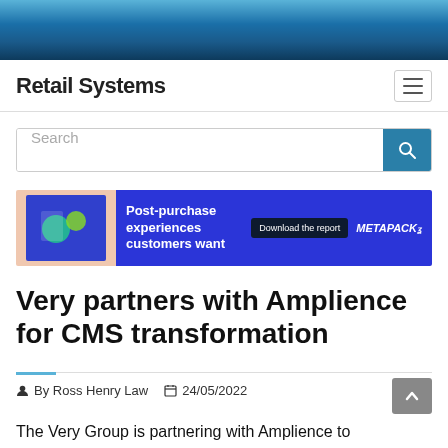Retail Systems
[Figure (screenshot): Search bar with teal search button]
[Figure (infographic): Metapack advertisement banner: Post-purchase experiences customers want. Download the report.]
Very partners with Amplience for CMS transformation
By Ross Henry Law  24/05/2022
The Very Group is partnering with Amplience to